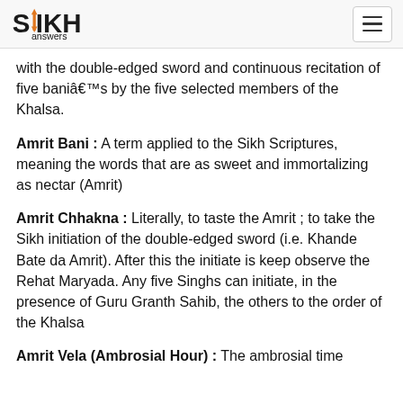SIKH answers
with the double-edged sword and continuous recitation of five baniâ€™s by the five selected members of the Khalsa.
Amrit Bani : A term applied to the Sikh Scriptures, meaning the words that are as sweet and immortalizing as nectar (Amrit)
Amrit Chhakna : Literally, to taste the Amrit ; to take the Sikh initiation of the double-edged sword (i.e. Khande Bate da Amrit). After this the initiate is keep observe the Rehat Maryada. Any five Singhs can initiate, in the presence of Guru Granth Sahib, the others to the order of the Khalsa
Amrit Vela (Ambrosial Hour) : The ambrosial time